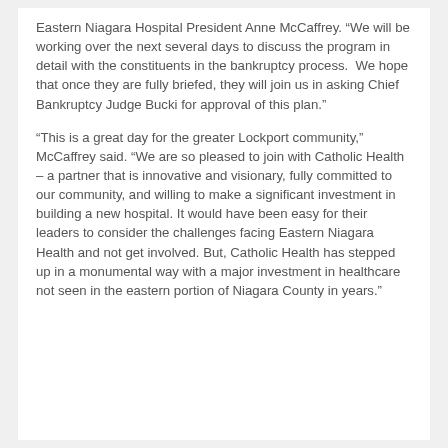Eastern Niagara Hospital President Anne McCaffrey. “We will be working over the next several days to discuss the program in detail with the constituents in the bankruptcy process.  We hope that once they are fully briefed, they will join us in asking Chief Bankruptcy Judge Bucki for approval of this plan.”
“This is a great day for the greater Lockport community,” McCaffrey said. “We are so pleased to join with Catholic Health – a partner that is innovative and visionary, fully committed to our community, and willing to make a significant investment in building a new hospital. It would have been easy for their leaders to consider the challenges facing Eastern Niagara Health and not get involved. But, Catholic Health has stepped up in a monumental way with a major investment in healthcare not seen in the eastern portion of Niagara County in years.”